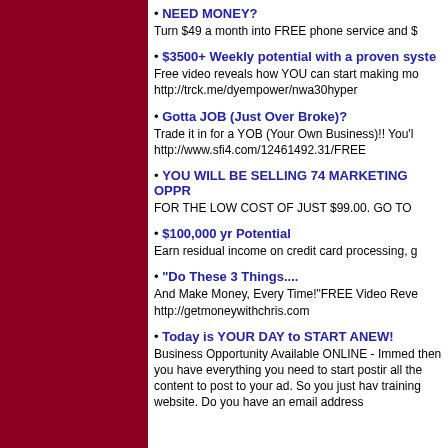• NEED MONEY?
Turn $49 a month into FREE phone service and $
• $3500+ Weekly potential with a proven syste
Free video reveals how YOU can start making mo
http://trck.me/dyempower/nwa30hyper
• Gotta JOB (Just Over Broke)?
Trade it in for a YOB (Your Own Business)!! You'l
http://www.sfi4.com/12461492.31/FREE
• YOU WILL BE SELLING 74 MARKETING OPPR
FOR THE LOW COST OF JUST $99.00. GO TO
• $100,000 yr Potential
Earn residual income on credit card processing, g
• "Do These 3 Things....
And Make Money, Every Time!"FREE Video Reve
http://getmoneywithchris.com
• Today is YOUR DAY to START ANEW!
Business Opportunity Available ONLINE - Immed then you have everything you need to start postir all the content to post to your ad. So you just hav training website. Do you have an email address